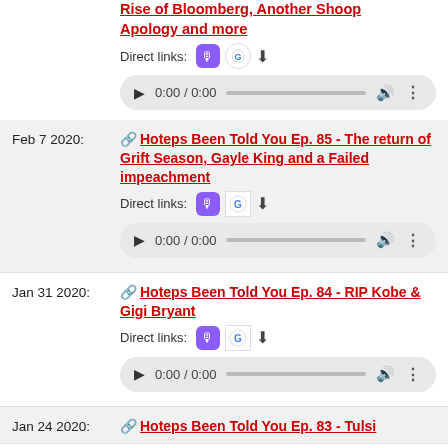Rise of Bloomberg, Another Shoop Apology and more
Direct links: [Apple Podcasts] [Google Podcasts] [Download]
[Figure (other): Audio player showing 0:00 / 0:00 with progress bar, volume and more icons]
Feb 7 2020: Hoteps Been Told You Ep. 85 - The return of Grift Season, Gayle King and a Failed impeachment
Direct links: [Apple Podcasts] [Google Podcasts] [Download]
[Figure (other): Audio player showing 0:00 / 0:00 with progress bar, volume and more icons]
Jan 31 2020: Hoteps Been Told You Ep. 84 - RIP Kobe & Gigi Bryant
Direct links: [Apple Podcasts] [Google Podcasts] [Download]
[Figure (other): Audio player showing 0:00 / 0:00 with progress bar, volume and more icons]
Jan 24 2020: Hoteps Been Told You Ep. 83 - Tulsi